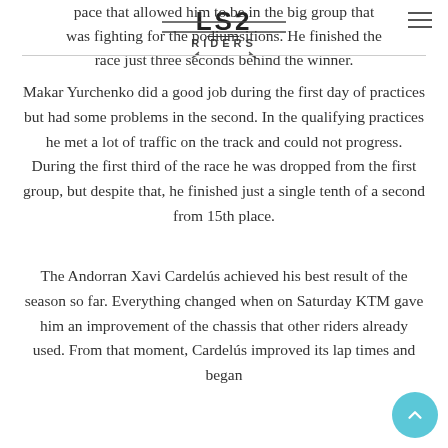LS2 RIDERS
pace that allowed him to be in the big group that was fighting for the podium positions. He finished the race just three seconds behind the winner.
Makar Yurchenko did a good job during the first day of practices but had some problems in the second. In the qualifying practices he met a lot of traffic on the track and could not progress. During the first third of the race he was dropped from the first group, but despite that, he finished just a single tenth of a second from 15th place.
The Andorran Xavi Cardelús achieved his best result of the season so far. Everything changed when on Saturday KTM gave him an improvement of the chassis that other riders already used. From that moment, Cardelús improved its lap times and began